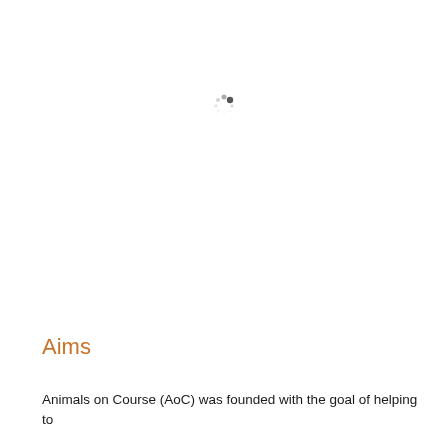[Figure (other): Loading spinner icon — small circular spinner graphic centered near the top of the page]
Aims
Animals on Course (AoC) was founded with the goal of helping to